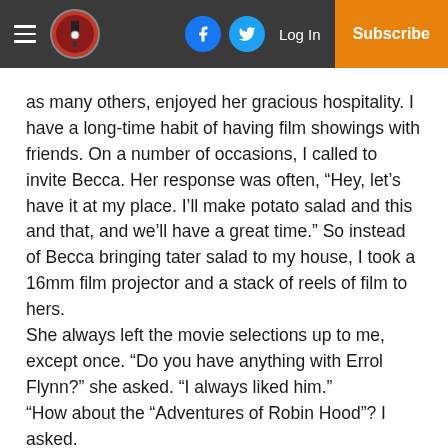Menu | Logo | Facebook | Twitter | Log In | Subscribe
as many others, enjoyed her gracious hospitality. I have a long-time habit of having film showings with friends. On a number of occasions, I called to invite Becca. Her response was often, “Hey, let’s have it at my place. I’ll make potato salad and this and that, and we’ll have a great time.” So instead of Becca bringing tater salad to my house, I took a 16mm film projector and a stack of reels of film to hers. She always left the movie selections up to me, except once. “Do you have anything with Errol Flynn?” she asked. “I always liked him.”
“How about the “Adventures of Robin Hood”? I asked.
“Oh, yes, love it. Can you bring that?”
“Sure.”